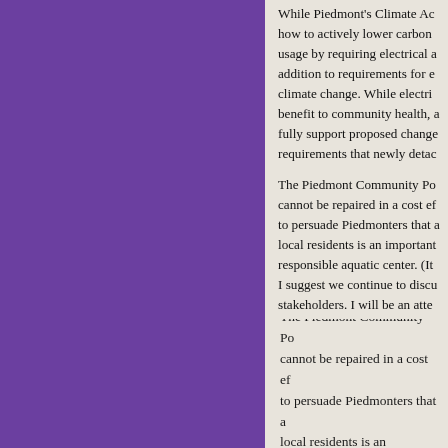[Figure (other): Purple sidebar background panel on the left side of the page]
While Piedmont's Climate Ac… how to actively lower carbon … usage by requiring electrical a… addition to requirements for e… climate change. While electri… benefit to community health, a… fully support proposed change… requirements that newly detac…

The Piedmont Community Po… cannot be repaired in a cost ef… to persuade Piedmonters that … local residents is an important… responsible aquatic center. (It… I suggest we continue to discu… stakeholders. I will be an atter…
garrett keating
July 19th, 2020 at 5:49 pm